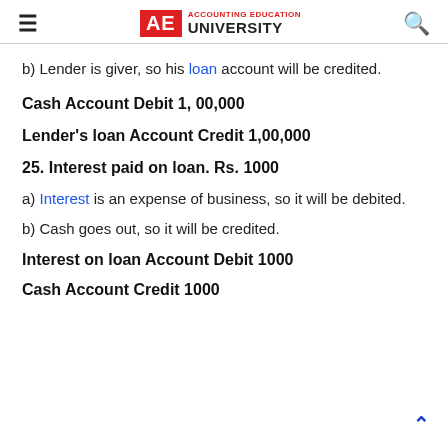AE ACCOUNTING EDUCATION UNIVERSITY
b) Lender is giver, so his loan account will be credited.
Cash Account Debit 1, 00,000
Lender's loan Account Credit 1,00,000
25. Interest paid on loan. Rs. 1000
a) Interest is an expense of business, so it will be debited.
b) Cash goes out, so it will be credited.
Interest on loan Account Debit 1000
Cash Account Credit 1000